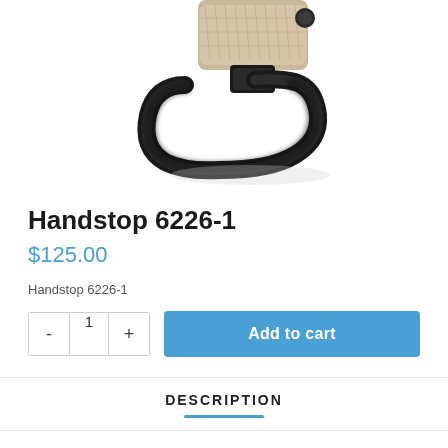[Figure (photo): Close-up photo of a black metal quick-detach sling swivel/handstop hardware piece with a knurled silver body and a black D-ring loop, on white background.]
Handstop 6226-1
$125.00
Handstop 6226-1
DESCRIPTION